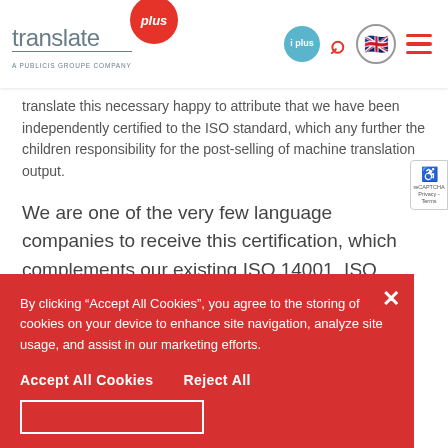[Figure (logo): TranslatePlus logo with red circle 'plus' badge and tagline 'A PUBLICIS GROUPE COMPANY']
translate this necessary happy to attribute that we have been independently certified to the ISO standard, which any further the children responsibility for the post-editing of machine translation output.
We are one of the very few language companies to receive this certification, which complements our existing ISO 14001, ISO 17100 and ISO 9001 certifications.
By clicking “Accept All Cookies”, you agree to the storing of cookies on your device to enhance site navigation, analyze site usage, and assist in our marketing efforts.
Accept All Cookies
Reject All